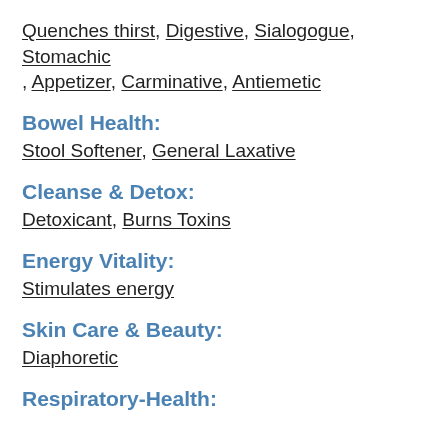Quenches thirst, Digestive, Sialogogue, Stomachic, Appetizer, Carminative, Antiemetic
Bowel Health:
Stool Softener, General Laxative
Cleanse & Detox:
Detoxicant, Burns Toxins
Energy Vitality:
Stimulates energy
Skin Care & Beauty:
Diaphoretic
Respiratory-Health: